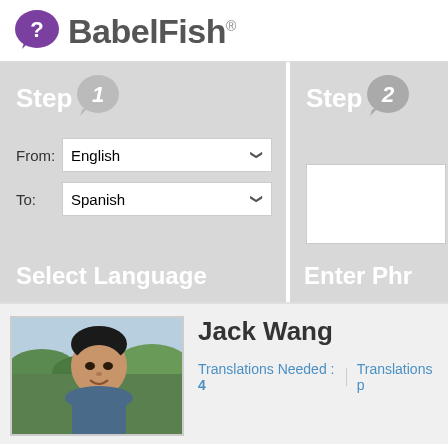[Figure (logo): BabelFish logo with purple speech bubble icon containing a white question mark, followed by bold gray text 'BabelFish' with registered trademark symbol]
[Figure (screenshot): Step 1 box with speech bubble label 'Step 1', dropdowns From: English and To: Spanish, footer text 'Select Language']
[Figure (screenshot): Step 2 box (partially visible) with speech bubble label 'Step 2', text input area, footer text 'Enter Phr...']
[Figure (photo): Profile photo of Jack Wang, a young Asian man smiling outdoors with trees/foliage in background]
Jack Wang
Translations Needed : 4 | Translations p...